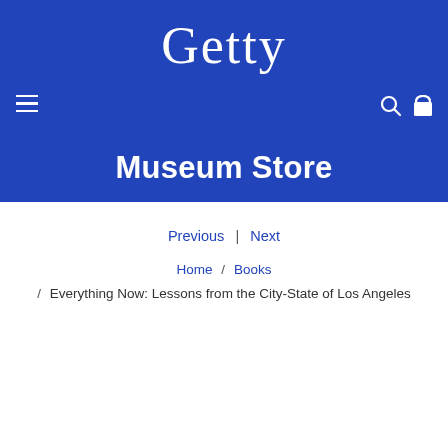[Figure (logo): Getty museum logo in white text on blue background]
Museum Store
Previous | Next
Home / Books / Everything Now: Lessons from the City-State of Los Angeles